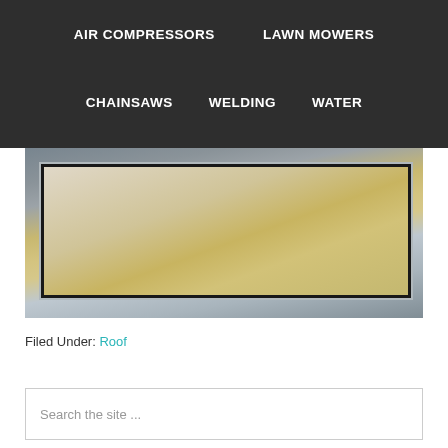AIR COMPRESSORS   LAWN MOWERS   CHAINSAWS   WELDING   WATER
[Figure (photo): Close-up photo of a construction panel or roofing board with wood-composite (OSB) edges, white trim, and black border, elevated on small legs on a grey surface.]
Filed Under: Roof
Search the site ...